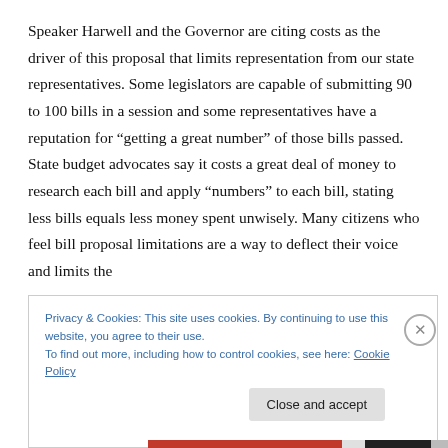Speaker Harwell and the Governor are citing costs as the driver of this proposal that limits representation from our state representatives. Some legislators are capable of submitting 90 to 100 bills in a session and some representatives have a reputation for “getting a great number” of those bills passed. State budget advocates say it costs a great deal of money to research each bill and apply “numbers” to each bill, stating less bills equals less money spent unwisely. Many citizens who feel bill proposal limitations are a way to deflect their voice and limits the
Privacy & Cookies: This site uses cookies. By continuing to use this website, you agree to their use.
To find out more, including how to control cookies, see here: Cookie Policy